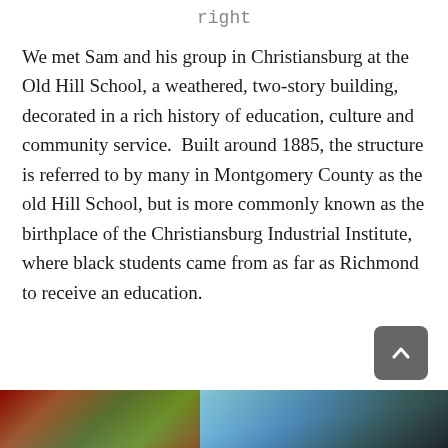right
We met Sam and his group in Christiansburg at the Old Hill School, a weathered, two-story building, decorated in a rich history of education, culture and community service. Built around 1885, the structure is referred to by many in Montgomery County as the old Hill School, but is more commonly known as the birthplace of the Christiansburg Industrial Institute, where black students came from as far as Richmond to receive an education.
[Figure (photo): Partial view of outdoor photograph showing trees and sky at the bottom of the page]